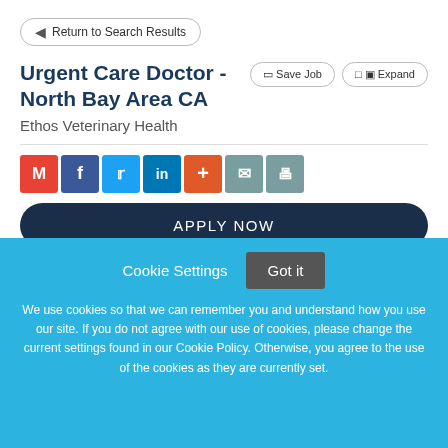Return to Search Results
Urgent Care Doctor - North Bay Area CA
Ethos Veterinary Health
[Figure (screenshot): Social sharing icons: Gmail, Facebook, Twitter, LinkedIn, Google+, Email, Print]
APPLY NOW
Cookie Settings  Got it
We use cookies so that we can remember you and understand how you use our site. If you do not agree with our use of cookies, please change the current settings found in our Cookie Policy. Otherwise, you agree to the use of the cookies as they are currently set.